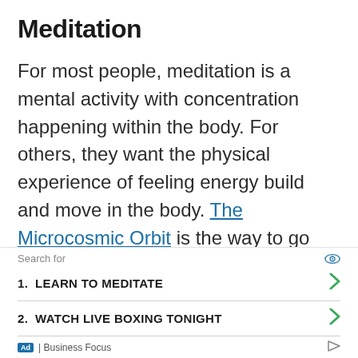Meditation
For most people, meditation is a mental activity with concentration happening within the body. For others, they want the physical experience of feeling energy build and move in the body. The Microcosmic Orbit is the way to go here as it is the most documented and has the best available instruction.
Search for
1. LEARN TO MEDITATE
2. WATCH LIVE BOXING TONIGHT
Ad | Business Focus